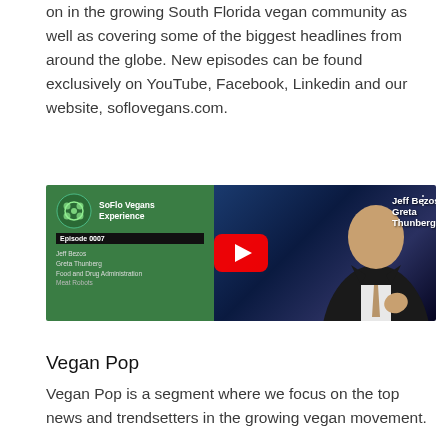on in the growing South Florida vegan community as well as covering some of the biggest headlines from around the globe. New episodes can be found exclusively on YouTube, Facebook, Linkedin and our website, soflovegans.com.
[Figure (screenshot): YouTube video thumbnail for 'Jeff Bezos, Greta Thunberg,...' episode 0007 of the SoFlo Vegans Experience, featuring a green left panel with logo and episode details, and a dark right panel with a person in a suit and a YouTube play button.]
Vegan Pop
Vegan Pop is a segment where we focus on the top news and trendsetters in the growing vegan movement.